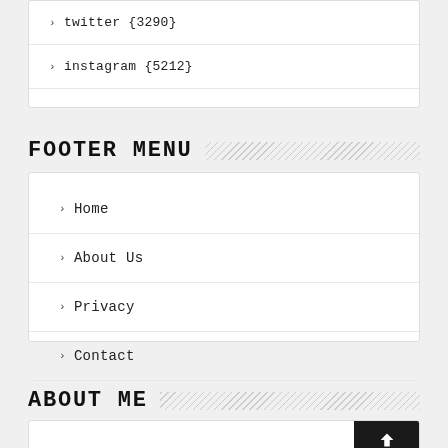twitter {3290}
instagram {5212}
FOOTER MENU
Home
About Us
Privacy
Contact
ABOUT ME